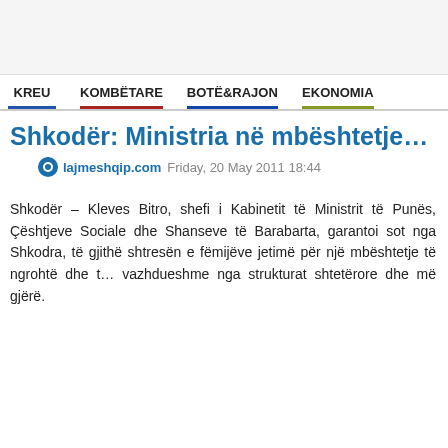KREU  KOMBËTARE  BOTË&RAJON  EKONOMIA
Shkodër: Ministria në mbështetj…
lajmeshqip.com  Friday, 20 May 2011 18:44
Shkodër – Kleves Bitro, shefi i Kabinetit të Ministrit të Punës, Çështjeve Sociale dhe Shanseve të Barabarta, garantoi sot nga Shkodra, të gjithë shtresën e fëmijëve jetimë për një mbështetje të ngrohtë dhe të vazhdueshme nga strukturat shtetërore dhe më gjërë.